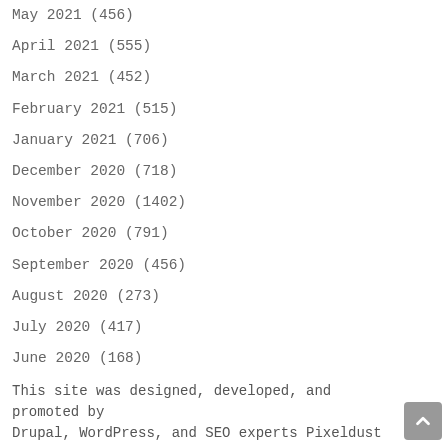May 2021 (456)
April 2021 (555)
March 2021 (452)
February 2021 (515)
January 2021 (706)
December 2020 (718)
November 2020 (1402)
October 2020 (791)
September 2020 (456)
August 2020 (273)
July 2020 (417)
June 2020 (168)
This site was designed, developed, and promoted by Drupal, WordPress, and SEO experts Pixeldust